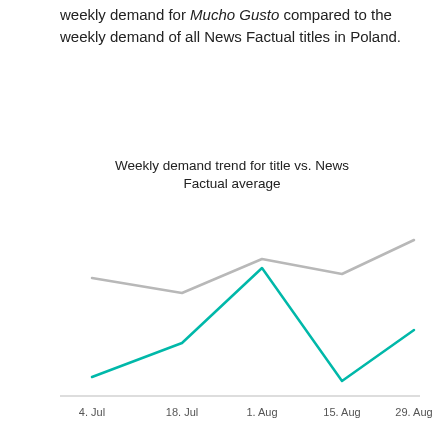weekly demand for Mucho Gusto compared to the weekly demand of all News Factual titles in Poland.
[Figure (line-chart): Weekly demand trend for title vs. News Factual average]